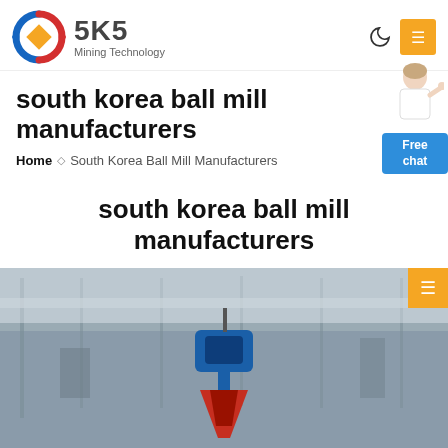[Figure (logo): SKS Mining Technology logo with circular emblem in red, blue, and gold/yellow colors on left, bold text SKS and Mining Technology on right]
south korea ball mill manufacturers
Home » South Korea Ball Mill Manufacturers
[Figure (illustration): Person in white clothes gesturing with hand, customer support representative]
[Figure (other): Blue Free chat button]
south korea ball mill manufacturers
[Figure (photo): Industrial machinery photo showing equipment in a warehouse or factory ceiling, with a blue mechanical component in foreground]